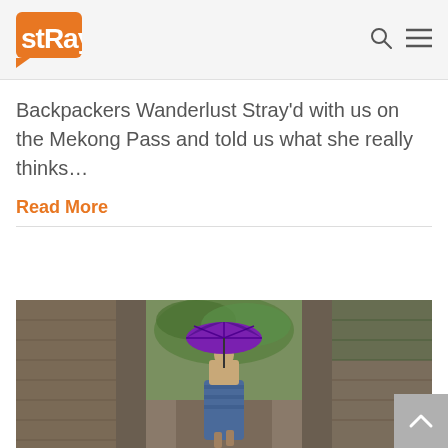Stray [logo navigation bar with search and menu icons]
Backpackers Wanderlust Stray'd with us on the Mekong Pass and told us what she really thinks…
Read More
[Figure (photo): Person walking away from camera through ancient stone temple doorway, holding a purple umbrella, wearing blue patterned clothing, with green ivy on stone walls]